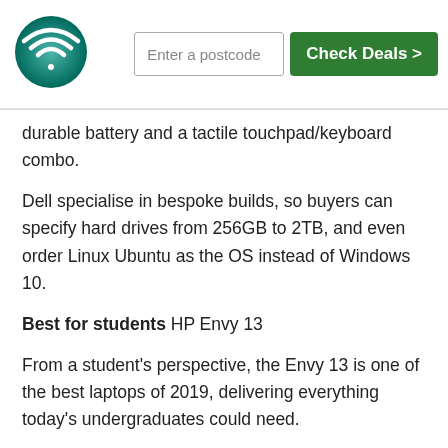[Figure (logo): Circular teal/green WiFi signal logo icon]
durable battery and a tactile touchpad/keyboard combo.
Dell specialise in bespoke builds, so buyers can specify hard drives from 256GB to 2TB, and even order Linux Ubuntu as the OS instead of Windows 10.
Best for students HP Envy 13
From a student's perspective, the Envy 13 is one of the best laptops of 2019, delivering everything today's undergraduates could need.
It runs Windows, ensuring Office compatibility. An 11-hour battery life handles long days in the library. An optional 4K screen and crisp speakers output streaming media effectively.
It even includes on-trend security features like a fingerprint